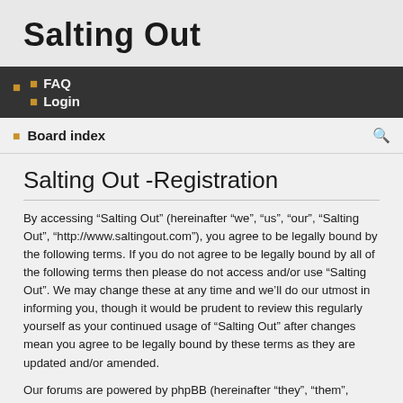Salting Out
FAQ  Login
Board index
Salting Out -Registration
By accessing “Salting Out” (hereinafter “we”, “us”, “our”, “Salting Out”, “http://www.saltingout.com”), you agree to be legally bound by the following terms. If you do not agree to be legally bound by all of the following terms then please do not access and/or use “Salting Out”. We may change these at any time and we’ll do our utmost in informing you, though it would be prudent to review this regularly yourself as your continued usage of “Salting Out” after changes mean you agree to be legally bound by these terms as they are updated and/or amended.
Our forums are powered by phpBB (hereinafter “they”, “them”, “their”, “phpBB software”, “www.phpbb.com”, “phpBB Limited”, “phpBB Teams”) which is a bulletin board solution released under the “GNU General Public License v2” (hereinafter “GPL”) and can be downloaded from www.phpbb.com. The phpBB software only facilitates internet based discussions; phpBB Limited is not responsible for...